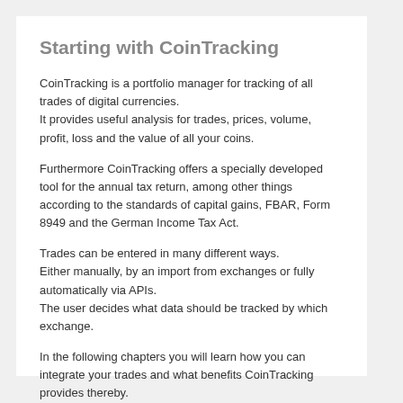Starting with CoinTracking
CoinTracking is a portfolio manager for tracking of all trades of digital currencies.
It provides useful analysis for trades, prices, volume, profit, loss and the value of all your coins.
Furthermore CoinTracking offers a specially developed tool for the annual tax return, among other things according to the standards of capital gains, FBAR, Form 8949 and the German Income Tax Act.
Trades can be entered in many different ways.
Either manually, by an import from exchanges or fully automatically via APIs.
The user decides what data should be tracked by which exchange.
In the following chapters you will learn how you can integrate your trades and what benefits CoinTracking provides thereby.
Click above on the links to jump directly to the desired chapter.